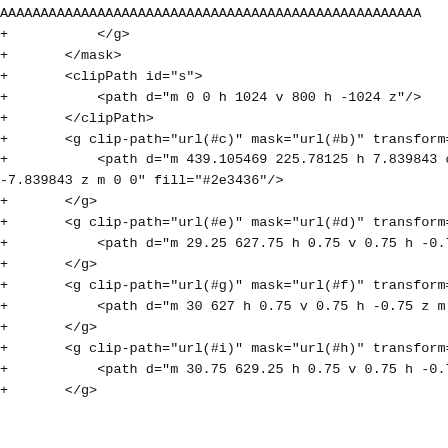AAAAAAAAAAAAAAAAAAAAAAAAAAAAAAAAAAAAAAAAAAAAAAAAAAAA
+           </g>
+       </mask>
+       <clipPath id="s">
+           <path d="m 0 0 h 1024 v 800 h -1024 z"/>
+       </clipPath>
+       <g clip-path="url(#c)" mask="url(#b)" transform='
+           <path d="m 439.105469 225.78125 h 7.839843 c
-7.839843 z m 0 0" fill="#2e3436"/>
+       </g>
+       <g clip-path="url(#e)" mask="url(#d)" transform='
+           <path d="m 29.25 627.75 h 0.75 v 0.75 h -0.75
+       </g>
+       <g clip-path="url(#g)" mask="url(#f)" transform='
+           <path d="m 30 627 h 0.75 v 0.75 h -0.75 z m 0
+       </g>
+       <g clip-path="url(#i)" mask="url(#h)" transform='
+           <path d="m 30.75 629.25 h 0.75 v 0.75 h -0.75
+       </g>